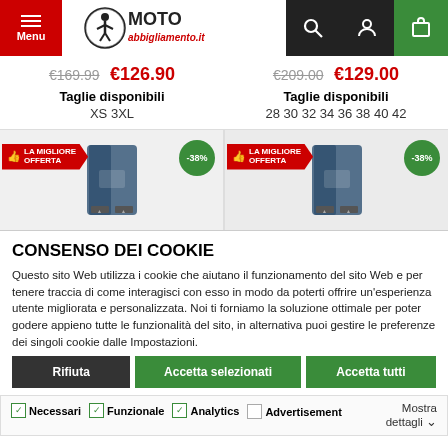Menu | MOTO ABBIGLIAMENTO.IT | search | user | cart
€169.99  €126.90    €209.00  €129.00
Taglie disponibili  XS 3XL    Taglie disponibili  28 30 32 34 36 38 40 42
[Figure (screenshot): Two product images of motorcycle jeans with LA MIGLIORE OFFERTA badge and -38% discount badge]
CONSENSO DEI COOKIE
Questo sito Web utilizza i cookie che aiutano il funzionamento del sito Web e per tenere traccia di come interagisci con esso in modo da poterti offrire un'esperienza utente migliorata e personalizzata. Noi ti forniamo la soluzione ottimale per poter godere appieno tutte le funzionalità del sito, in alternativa puoi gestire le preferenze dei singoli cookie dalle Impostazioni.
Rifiuta | Accetta selezionati | Accetta tutti
Necessari  Funzionale  Analytics  Advertisement  Mostra dettagli